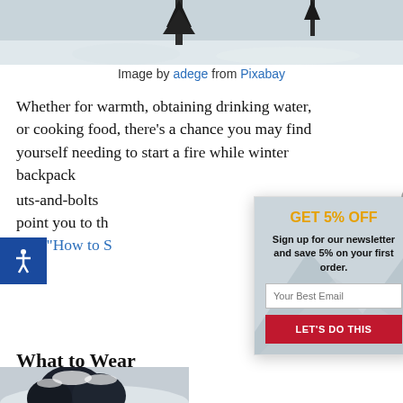[Figure (photo): Top portion of a winter snow scene photo showing snowy landscape with trees]
Image by adege from Pixabay
Whether for warmth, obtaining drinking water, or cooking food, there’s a chance you may find yourself needing to start a fire while winter backpacking. Rather than get into the nuts-and-bolts of how to start a fire (we have another post that will point you to the right techniques), we want to point you to the post,“How to S…
What to Wear
[Figure (photo): Snow-covered trees, bottom left corner of page]
[Figure (infographic): Popup modal: GET 5% OFF - Sign up for our newsletter and save 5% on your first order. Email input field and LET'S DO THIS button.]